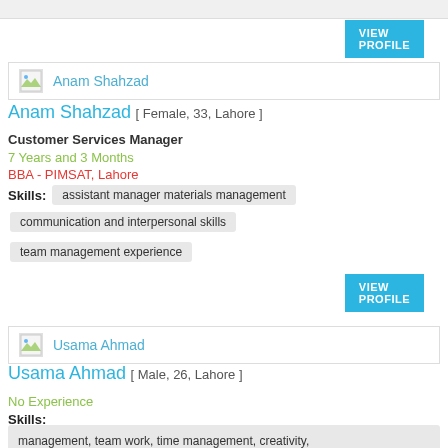[Figure (other): VIEW PROFILE button for previous profile]
Anam Shahzad
Anam Shahzad [ Female, 33, Lahore ]
Customer Services Manager
7 Years and 3 Months
BBA - PIMSAT, Lahore
Skills: assistant manager materials management
communication and interpersonal skills
team management experience
[Figure (other): VIEW PROFILE button for Anam Shahzad]
Usama Ahmad
Usama Ahmad [ Male, 26, Lahore ]
No Experience
Skills:
management, team work, time management, creativity, marketing